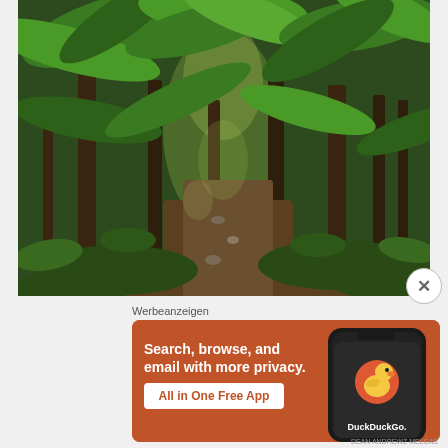[Figure (photo): A lush tropical banana plantation with tall green banana plants lining a dirt path, dense green undergrowth, dappled sunlight filtering through large leaves]
Werbeanzeigen
[Figure (illustration): DuckDuckGo advertisement banner on orange-red background. Left side reads 'Search, browse, and email with more privacy. All in One Free App'. Right side shows a smartphone with DuckDuckGo logo and duck icon, with 'DuckDuckGo.' text below.]